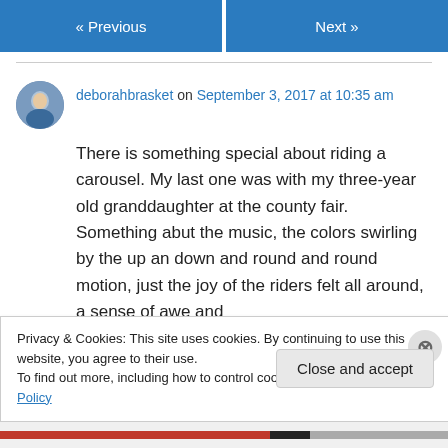« Previous   Next »
deborahbrasket on September 3, 2017 at 10:35 am
There is something special about riding a carousel. My last one was with my three-year old granddaughter at the county fair. Something abut the music, the colors swirling by the up an down and round and round motion, just the joy of the riders felt all around, a sense of awe and
Privacy & Cookies: This site uses cookies. By continuing to use this website, you agree to their use.
To find out more, including how to control cookies, see here: Cookie Policy